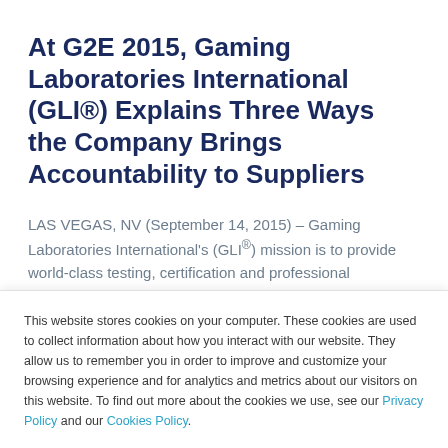At G2E 2015, Gaming Laboratories International (GLI®) Explains Three Ways the Company Brings Accountability to Suppliers
LAS VEGAS, NV (September 14, 2015) – Gaming Laboratories International's (GLI®) mission is to provide world-class testing, certification and professional
This website stores cookies on your computer. These cookies are used to collect information about how you interact with our website. They allow us to remember you in order to improve and customize your browsing experience and for analytics and metrics about our visitors on this website. To find out more about the cookies we use, see our Privacy Policy and our Cookies Policy.
By clicking Accept you agree to our cookies policy